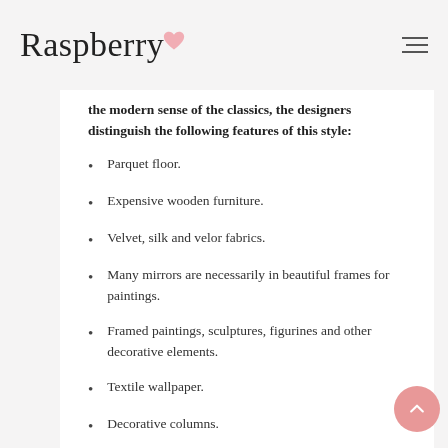Raspberry
the modern sense of the classics, the designers distinguish the following features of this style:
Parquet floor.
Expensive wooden furniture.
Velvet, silk and velor fabrics.
Many mirrors are necessarily in beautiful frames for paintings.
Framed paintings, sculptures, figurines and other decorative elements.
Textile wallpaper.
Decorative columns.